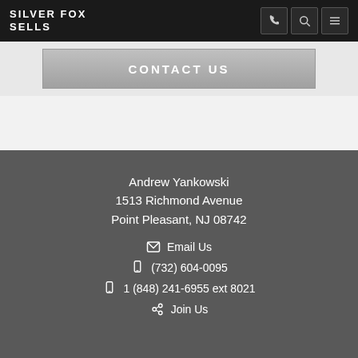SILVER FOX SELLS
CONTACT US
Andrew Yankowski
1513 Richmond Avenue
Point Pleasant, NJ 08742
Email Us
(732) 604-0095
1 (848) 241-6955 ext 8021
Join Us